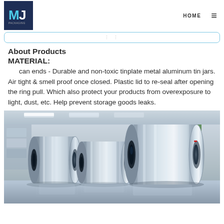MJ [logo] | HOME [hamburger menu]
About Products
MATERIAL:
can ends - Durable and non-toxic tinplate metal aluminum tin jars. Air tight & smell proof once closed. Plastic lid to re-seal after opening the ring pull. Which also protect your products from overexposure to light, dust, etc. Help prevent storage goods leaks.
[Figure (photo): Large rolls of shiny tinplate/aluminum metal coils in an industrial warehouse or manufacturing facility.]